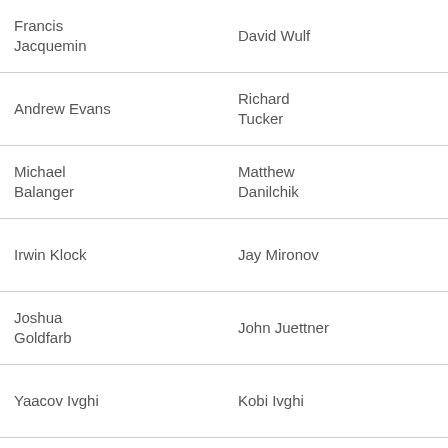Francis Jacquemin
David Wulf
Andrew Evans
Richard Tucker
Michael Balanger
Matthew Danilchik
Irwin Klock
Jay Mironov
Joshua Goldfarb
John Juettner
Yaacov Ivghi
Kobi Ivghi
John Parker
William Vandelaar